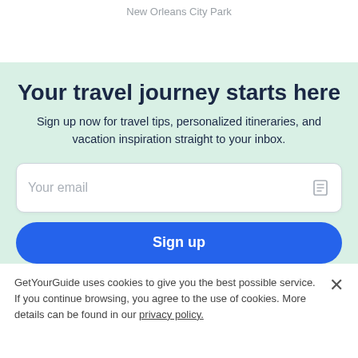New Orleans City Park
Your travel journey starts here
Sign up now for travel tips, personalized itineraries, and vacation inspiration straight to your inbox.
[Figure (other): Email input field with placeholder text 'Your email' and a document icon on the right]
[Figure (other): Blue 'Sign up' button with rounded corners]
GetYourGuide uses cookies to give you the best possible service. If you continue browsing, you agree to the use of cookies. More details can be found in our privacy policy.